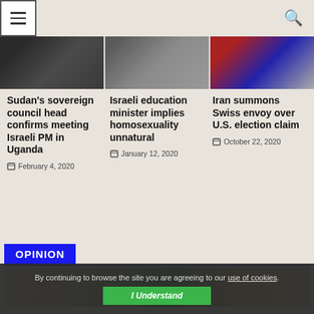Navigation menu and search
[Figure (photo): Three news article photos in a row: group of people in dark suits, man in suit with Hebrew text background, flags including US and Middle Eastern flags]
Sudan's sovereign council head confirms meeting Israeli PM in Uganda
February 4, 2020
Israeli education minister implies homosexuality unnatural
January 12, 2020
Iran summons Swiss envoy over U.S. election claim
October 22, 2020
OPINION
[Figure (photo): Photo of diplomatic meeting with flags including American flag and various Middle Eastern flags]
By continuing to browse the site you are agreeing to our use of cookies.
I Understand